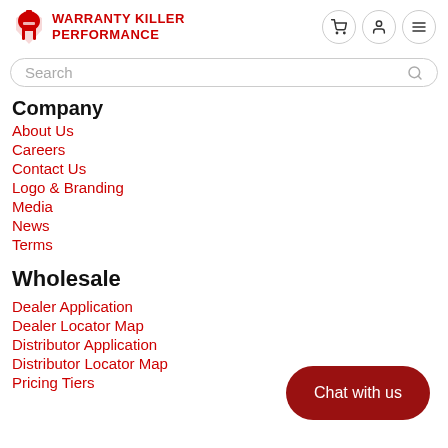WARRANTY KILLER PERFORMANCE
Search
Company
About Us
Careers
Contact Us
Logo & Branding
Media
News
Terms
Wholesale
Dealer Application
Dealer Locator Map
Distributor Application
Distributor Locator Map
Pricing Tiers
Chat with us